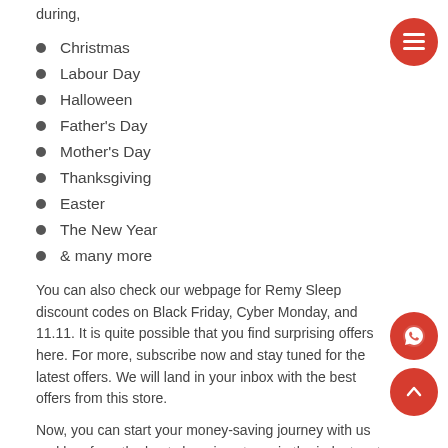during,
Christmas
Labour Day
Halloween
Father's Day
Mother's Day
Thanksgiving
Easter
The New Year
& many more
You can also check our webpage for Remy Sleep discount codes on Black Friday, Cyber Monday, and 11.11. It is quite possible that you find surprising offers here. For more, subscribe now and stay tuned for the latest offers. We will land in your inbox with the best offers from this store.
Now, you can start your money-saving journey with us and buy from the best shopping stores in the industry at unbelievable prices. Shop More and Save More!